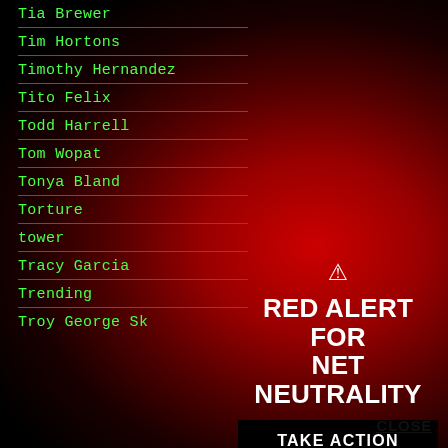Tia Brewer
Tim Hortons
Timothy Hernandez
Tito Felix
Todd Harrell
Tom Wopat
Tonya Bland
Torture
tower
Tracy Garcia
Trending
Troy George Sk
[Figure (infographic): Red Alert for Net Neutrality warning infographic with triangle warning icon, bold white text reading RED ALERT FOR NET NEUTRALITY, a black TAKE ACTION button, and a CLOSE link]
CLOSE